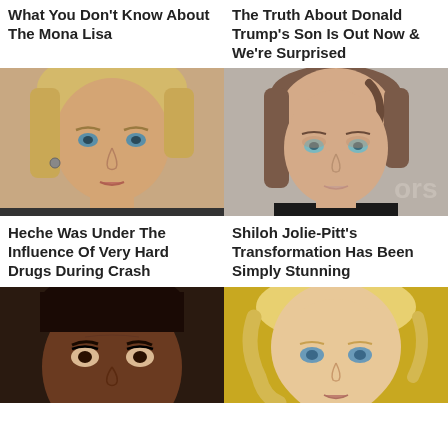What You Don't Know About The Mona Lisa
The Truth About Donald Trump's Son Is Out Now & We're Surprised
[Figure (photo): Close-up photo of a blonde woman with short hair, blue eyes, looking concerned]
[Figure (photo): Close-up photo of a young woman with brown hair pulled back, blue-green eyes, wearing dark clothing, partial 'ors' text visible in background]
Heche Was Under The Influence Of Very Hard Drugs During Crash
Shiloh Jolie-Pitt's Transformation Has Been Simply Stunning
[Figure (photo): Close-up photo of a dark-haired woman looking serious, partially visible]
[Figure (photo): Close-up photo of a blonde woman, partially visible, yellow/gold background visible]